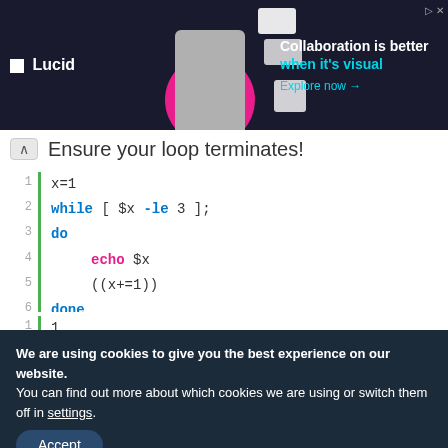[Figure (screenshot): Lucid advertisement banner with logo, person image, and text 'Collaboration is better when it's visual. Explore now →']
Ensure your loop terminates!
Code block:
1  x=1
2  while [ $x -le 3 ];
3  do
4    echo $x
5    ((x+=1))
6  done
Output:
1  1
2  2
3  3
We are using cookies to give you the best experience on our website.
You can find out more about which cookies we are using or switch them off in settings.